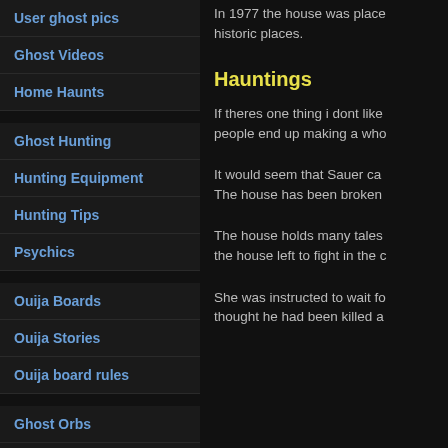User ghost pics
Ghost Videos
Home Haunts
Ghost Hunting
Hunting Equipment
Hunting Tips
Psychics
Ouija Boards
Ouija Stories
Ouija board rules
Ghost Orbs
EVP
In 1977 the house was place historic places.
Hauntings
If theres one thing i dont like people end up making a who
It would seem that Sauer ca The house has been broken
The house holds many tales the house left to fight in the c
She was instructed to wait fo thought he had been killed a